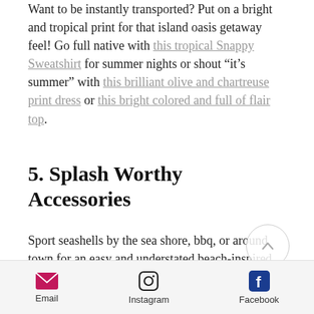Want to be instantly transported? Put on a bright and tropical print for that island oasis getaway feel! Go full native with this tropical Snappy Sweatshirt for summer nights or shout “it’s summer” with this brilliant olive and chartreuse print dress or this bright colored and full of flair top.
5. Splash Worthy Accessories
Sport seashells by the sea shore, bbq, or around town for an easy and understated beach-inspired look. We love the oceanic feel of these Harbor
[Figure (other): Circular scroll-to-top button with an upward chevron arrow]
Email   Instagram   Facebook